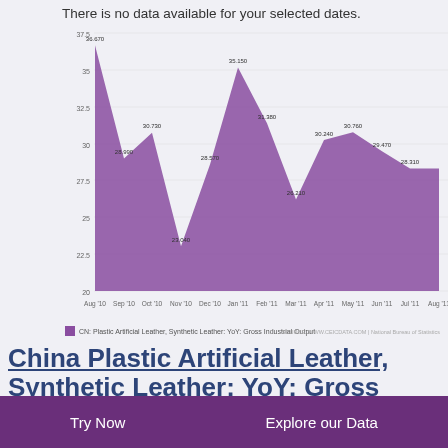There is no data available for your selected dates.
[Figure (area-chart): CN: Plastic Artificial Leather, Synthetic Leather: YoY: Gross Industrial Output]
China Plastic Artificial Leather, Synthetic Leather: YoY: Gross Industrial Output: Year to Date
2009 - 2011 | MONTHLY | % | NATIONAL BUREAU OF STATISTICS
Try Now
Explore our Data